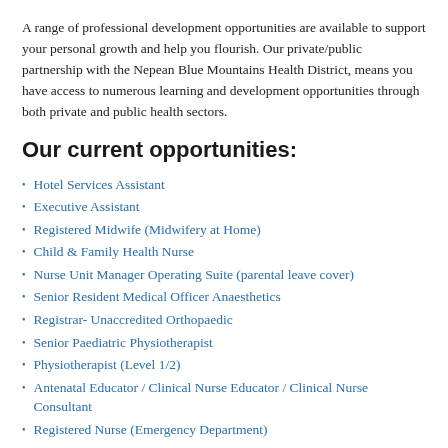A range of professional development opportunities are available to support your personal growth and help you flourish. Our private/public partnership with the Nepean Blue Mountains Health District, means you have access to numerous learning and development opportunities through both private and public health sectors.
Our current opportunities:
Hotel Services Assistant
Executive Assistant
Registered Midwife (Midwifery at Home)
Child & Family Health Nurse
Nurse Unit Manager Operating Suite (parental leave cover)
Senior Resident Medical Officer Anaesthetics
Registrar- Unaccredited Orthopaedic
Senior Paediatric Physiotherapist
Physiotherapist (Level 1/2)
Antenatal Educator / Clinical Nurse Educator / Clinical Nurse Consultant
Registered Nurse (Emergency Department)